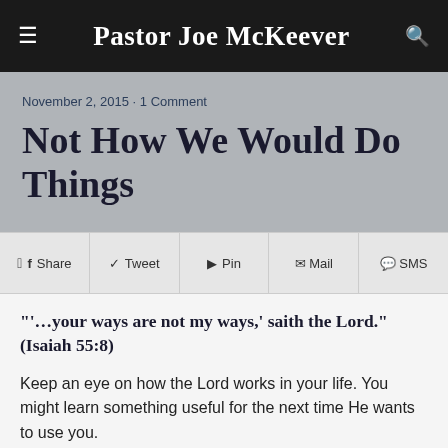Pastor Joe McKeever
November 2, 2015 · 1 Comment
Not How We Would Do Things
Share  Tweet  Pin  Mail  SMS
"'…your ways are not my ways,' saith the Lord."  (Isaiah 55:8)
Keep an eye on how the Lord works in your life. You might learn something useful for the next time He wants to use you.
This little couplet seems to sum up 90 percent of what Scripture and life teach us concerning the operation of God in